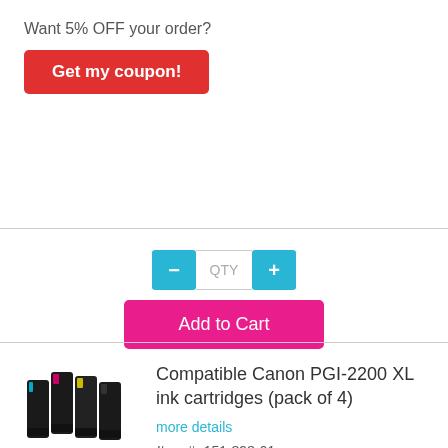Want 5% OFF your order?
Get my coupon!
[Figure (screenshot): Quantity selector with minus (-) button, QTY input box, and plus (+) button, all in teal/cyan color]
Add to Cart
[Figure (photo): Compatible Canon PGI-2200 XL ink cartridges (pack of 4) — four black ink cartridge units shown]
Compatible Canon PGI-2200 XL ink cartridges (pack of 4)
more details
Item #: 151-898-01
Sale Price: $29.49
Buy 2 for $27.99 each